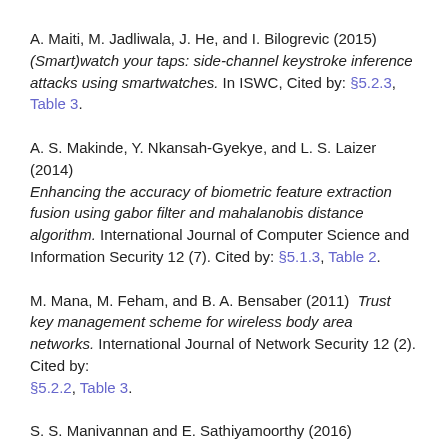A. Maiti, M. Jadliwala, J. He, and I. Bilogrevic (2015) (Smart)watch your taps: side-channel keystroke inference attacks using smartwatches. In ISWC, Cited by: §5.2.3, Table 3.
A. S. Makinde, Y. Nkansah-Gyekye, and L. S. Laizer (2014) Enhancing the accuracy of biometric feature extraction fusion using gabor filter and mahalanobis distance algorithm. International Journal of Computer Science and Information Security 12 (7). Cited by: §5.1.3, Table 2.
M. Mana, M. Feham, and B. A. Bensaber (2011) Trust key management scheme for wireless body area networks. International Journal of Network Security 12 (2). Cited by: §5.2.2, Table 3.
S. S. Manivannan and E. Sathiyamoorthy (2016)